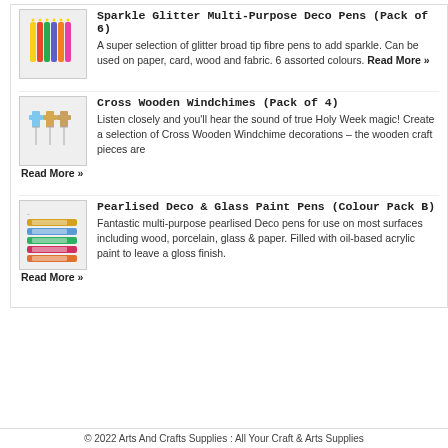[Figure (photo): Sparkle Glitter Multi-Purpose Deco Pens product image showing colorful glitter pens pack]
Sparkle Glitter Multi-Purpose Deco Pens (Pack of 6)
A super selection of glitter broad tip fibre pens to add sparkle. Can be used on paper, card, wood and fabric. 6 assorted colours. Read More »
[Figure (photo): Cross Wooden Windchimes product image showing cross-shaped windchime decorations]
Cross Wooden Windchimes (Pack of 4)
Listen closely and you'll hear the sound of true Holy Week magic! Create a selection of Cross Wooden Windchime decorations – the wooden craft pieces are
Read More »
[Figure (photo): Pearlised Deco & Glass Paint Pens Colour Pack B product image showing assorted paint pens]
Pearlised Deco & Glass Paint Pens (Colour Pack B)
Fantastic multi-purpose pearlised Deco pens for use on most surfaces including wood, porcelain, glass & paper. Filled with oil-based acrylic paint to leave a gloss finish.
Read More »
© 2022 Arts And Crafts Supplies : All Your Craft & Arts Supplies